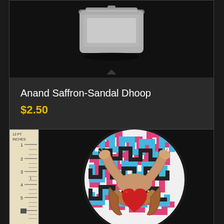[Figure (photo): Product image of Anand Saffron-Sandal Dhoop in a plastic container on dark background]
Anand Saffron-Sandal Dhoop
$2.50
Add to cart
Show Details
[Figure (photo): A circular embroidered patch showing arms holding a heart, with colorful maze-like background in pink, blue, black and white. A ruler is visible on the left side showing measurements in inches.]